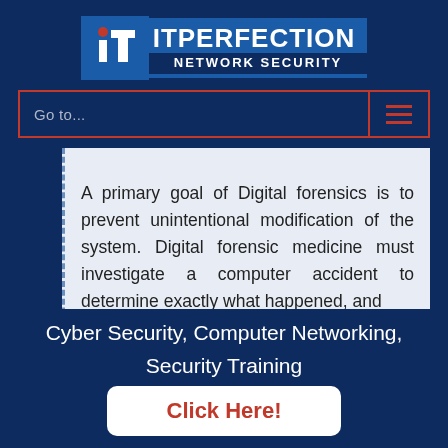[Figure (logo): ITperfection Network Security logo with 'it' icon on blue background]
Go to...
A primary goal of Digital forensics is to prevent unintentional modification of the system. Digital forensic medicine must investigate a computer accident to determine exactly what happened, and
Cyber Security, Computer Networking, Security Training
Click Here!